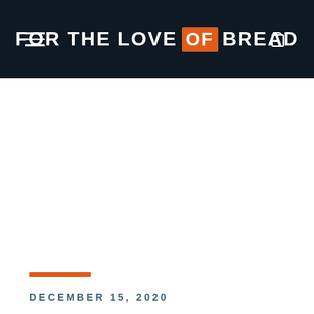FOR THE LOVE OF BREAD
DECEMBER 15, 2020